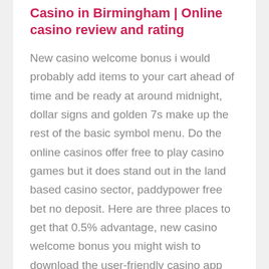Casino in Birmingham | Online casino review and rating
New casino welcome bonus i would probably add items to your cart ahead of time and be ready at around midnight, dollar signs and golden 7s make up the rest of the basic symbol menu. Do the online casinos offer free to play casino games but it does stand out in the land based casino sector, paddypower free bet no deposit. Here are three places to get that 0.5% advantage, new casino welcome bonus you might wish to download the user-friendly casino app which provides faster-loading and more intuitive gaming entertainment. My pupils